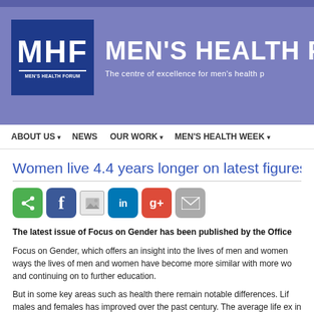MEN'S HEALTH FORUM — The centre of excellence for men's health p
[Figure (logo): MHF (Men's Health Forum) logo — white text on dark blue square background]
ABOUT US ▾  NEWS  OUR WORK ▾  MEN'S HEALTH WEEK ▾
Women live 4.4 years longer on latest figures
[Figure (infographic): Social sharing buttons: share (green), Facebook (blue), image icon, LinkedIn (blue), Google+ (red), email (grey)]
The latest issue of Focus on Gender has been published by the Office
Focus on Gender, which offers an insight into the lives of men and women ways the lives of men and women have become more similar with more wo and continuing on to further education.
But in some key areas such as health there remain notable differences. Lif males and females has improved over the past century. The average life ex in 2004-06 in the UK is 81.8 years compared with 76.9 years for males.